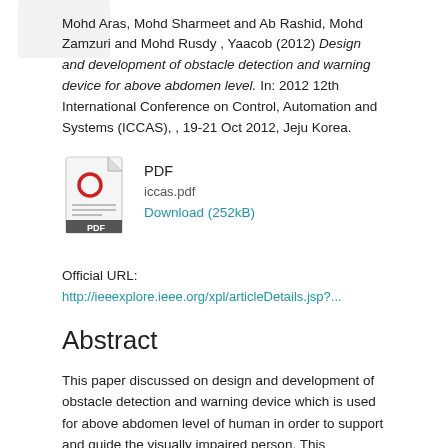Mohd Aras, Mohd Sharmeet and Ab Rashid, Mohd Zamzuri and Mohd Rusdy , Yaacob (2012) Design and development of obstacle detection and warning device for above abdomen level. In: 2012 12th International Conference on Control, Automation and Systems (ICCAS), , 19-21 Oct 2012, Jeju Korea.
[Figure (other): PDF file icon thumbnail with red circle and 'PDF' label]
PDF
iccas.pdf
Download (252kB)
Official URL:
http://ieeexplore.ieee.org/xpl/articleDetails.jsp?...
Abstract
This paper discussed on design and development of obstacle detection and warning device which is used for above abdomen level of human in order to support and guide the visually impaired person. This electronic device is an innovation product to support and help those visually impaired person such to have their own confident to travel